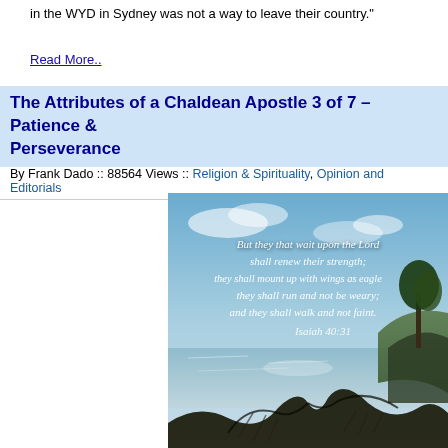in the WYD in Sydney was not a way to leave their country."
Read More..
The Attributes of a Chaldean Apostle 3 of 7 –Patience & Perseverance
By Frank Dado :: 88564 Views :: Religion & Spirituality, Opinion and Editorials
[Figure (photo): Inspirational landscape photo with calligraphy text of Isaiah 40:31: 'But they that wait upon the Lord shall renew their strength; they shall mount up with wings as eagles; they shall run and not be weary; and they shall walk and not faint. Isaiah 40:31']